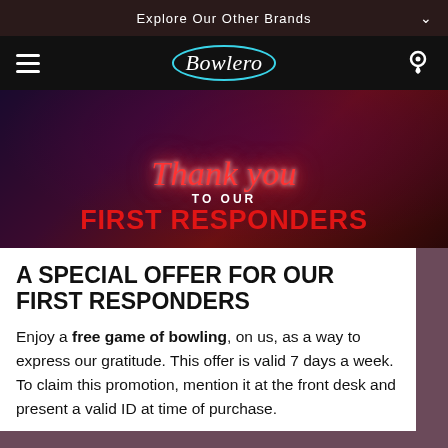Explore Our Other Brands
[Figure (logo): Bowlero logo in white script with teal circle outline, hamburger menu icon on left, location pin icon on right, on black navigation bar]
[Figure (photo): Dark background with neon-style text reading 'Thank you TO OUR FIRST RESPONDERS' — 'Thank you' in red neon script, 'TO OUR' in white bold uppercase, 'FIRST RESPONDERS' in large bold red uppercase]
A SPECIAL OFFER FOR OUR FIRST RESPONDERS
Enjoy a free game of bowling, on us, as a way to express our gratitude. This offer is valid 7 days a week. To claim this promotion, mention it at the front desk and present a valid ID at time of purchase.